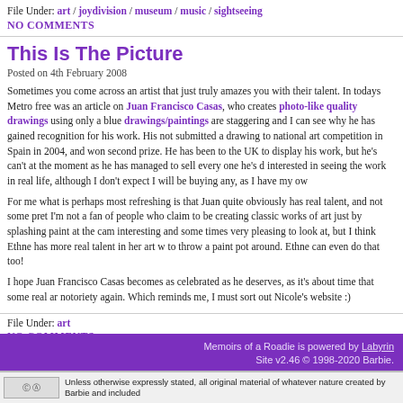File Under: art / joydivision / museum / music / sightseeing
NO COMMENTS
This Is The Picture
Posted on 4th February 2008
Sometimes you come across an artist that just truly amazes you with their talent. In todays Metro free was an article on Juan Francisco Casas, who creates photo-like quality drawings using only a blue drawings/paintings are staggering and I can see why he has gained recognition for his work. His not submitted a drawing to national art competition in Spain in 2004, and won second prize. He has been to the UK to display his work, but he's can't at the moment as he has managed to sell every one he's d interested in seeing the work in real life, although I don't expect I will be buying any, as I have my ow
For me what is perhaps most refreshing is that Juan quite obviously has real talent, and not some pre I'm not a fan of people who claim to be creating classic works of art just by splashing paint at the ca interesting and some times very pleasing to look at, but I think Ethne has more real talent in her art w to throw a paint pot around. Ethne can even do that too!
I hope Juan Francisco Casas becomes as celebrated as he deserves, as it's about time that some real ar notoriety again. Which reminds me, I must sort out Nicole's website :)
File Under: art
NO COMMENTS
Memoirs of a Roadie is powered by Labyrin Site v2.46 © 1998-2020 Barbie.
Unless otherwise expressly stated, all original material of whatever nature created by Barbie and included